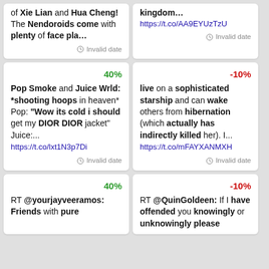of Xie Lian and Hua Cheng! The Nendoroids come with plenty of face pla… Invalid date
kingdom… https://t.co/AA9EYUzTzU Invalid date
40% Pop Smoke and Juice Wrld: *shooting hoops in heaven* Pop: "Wow its cold i should get my DIOR DIOR jacket" Juice:... https://t.co/lxt1N3p7Di Invalid date
-10% live on a sophisticated starship and can wake others from hibernation (which actually has indirectly killed her). I... https://t.co/mFAYXANMXH Invalid date
40% RT @yourjayveeramos: Friends with pure
-10% RT @QuinGoldeen: If I have offended you knowingly or unknowingly please